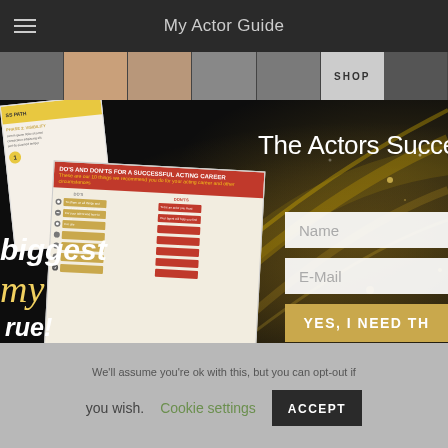My Actor Guide
[Figure (screenshot): Navigation bar with hamburger menu icon on left and 'My Actor Guide' title centered on dark background]
[Figure (photo): Horizontal strip of actor/model portrait photos with a SHOP label on right]
[Figure (infographic): Hero section with dark/gold sparkle background, booklet/guide documents on left, title 'The Actors Succe...' on upper right, Name and E-Mail input fields, and 'YES, I NEED TH...' gold button. Left side text reads: biggest, my, rue!, Roadmap, ful Working Actor]
We'll assume you're ok with this, but you can opt-out if you wish.
Cookie settings
ACCEPT